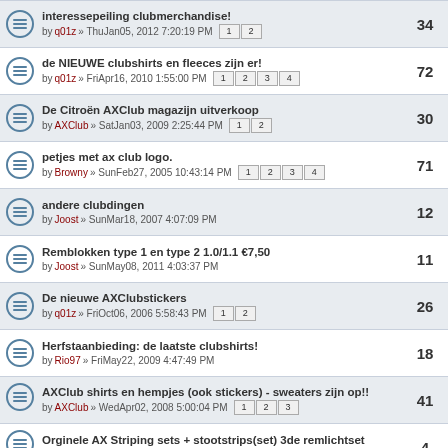interessepeiling clubmerchandise! by q01z » ThuJan05, 2012 7:20:19 PM | pages: 1 2 | replies: 34
de NIEUWE clubshirts en fleeces zijn er! by q01z » FriApr16, 2010 1:55:00 PM | pages: 1 2 3 4 | replies: 72
De Citroën AXClub magazijn uitverkoop by AXClub » SatJan03, 2009 2:25:44 PM | pages: 1 2 | replies: 30
petjes met ax club logo. by Browny » SunFeb27, 2005 10:43:14 PM | pages: 1 2 3 4 | replies: 71
andere clubdingen by Joost » SunMar18, 2007 4:07:09 PM | replies: 12
Remblokken type 1 en type 2 1.0/1.1 €7,50 by Joost » SunMay08, 2011 4:03:37 PM | replies: 11
De nieuwe AXClubstickers by q01z » FriOct06, 2006 5:58:43 PM | pages: 1 2 | replies: 26
Herfstaanbieding: de laatste clubshirts! by Rio97 » FriMay22, 2009 4:47:49 PM | replies: 18
AXClub shirts en hempjes (ook stickers) - sweaters zijn op!! by AXClub » WedApr02, 2008 5:00:04 PM | pages: 1 2 3 | replies: 41
Orginele AX Striping sets + stootstrips(set) 3de remlichtset by Joost » FriJan02, 2009 11:14:34 PM | replies: 4
Display topics from previous: All Topics  Sort by Post time